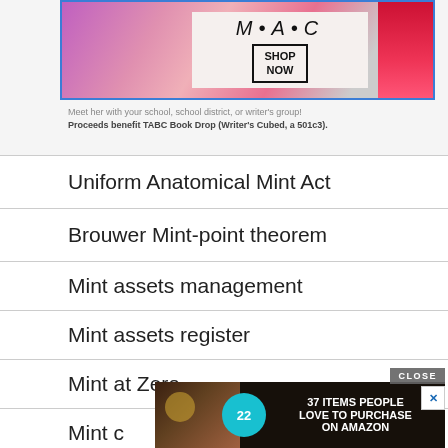[Figure (screenshot): MAC cosmetics advertisement banner with lipstick products and SHOP NOW button]
Meet her with your school, school district, or writer's group!
Proceeds benefit TABC Book Drop (Writer's Cubed, a 501c3).
Uniform Anatomical Mint Act
Brouwer Mint-point theorem
Mint assets management
Mint assets register
Mint at Zero
Mint c…
Mint c…
[Figure (screenshot): Advertisement overlay: 37 ITEMS PEOPLE LOVE TO PURCHASE ON AMAZON with food photography background and teal badge showing 22]